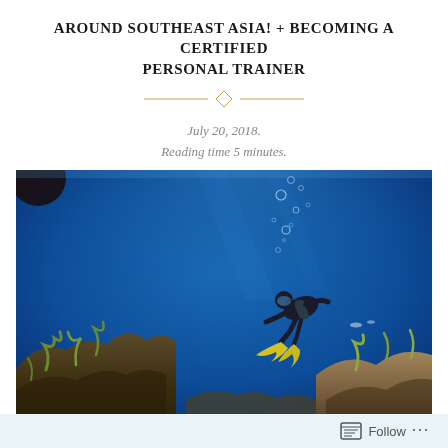AROUND SOUTHEAST ASIA! + BECOMING A CERTIFIED PERSONAL TRAINER
July 20, 2018.
Reading time 5 minutes.
[Figure (photo): Underwater scuba diving photo showing a diver with yellow fins swimming above a coral reef in vivid blue water, with air bubbles rising to the surface.]
Follow ...